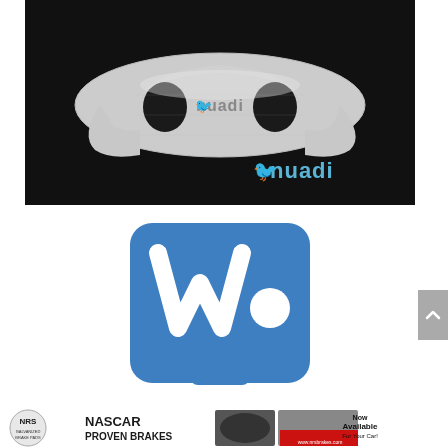[Figure (photo): Nuadi brake pad product photo on black background. Silver metallic brake pad with two oval cutouts and 'nuadi' brand text stamped on it. Bottom right corner shows the nuadi bird logo and brand name in blue/teal on black background.]
[Figure (logo): WooCommerce blue logo icon - a blue rounded square shape with a stylized white 'W' and a white circle dot, resembling a shopping cart icon.]
[Figure (infographic): NRS Brakes advertisement banner. Left: NRS Galvanized Brake Pads logo (circular badge). Center: 'NASCAR PROVEN BRAKES' text with brake pad image. Right: Race car photo with 'Now Available For Your Car!' text and website www.nrsbrakes.com on red banner.]